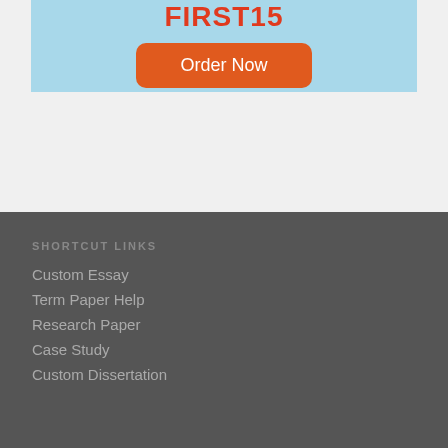FIRST15
[Figure (other): Orange rounded button with white text 'Order Now']
SHORTCUT LINKS
Custom Essay
Term Paper Help
Research Paper
Case Study
Custom Dissertation